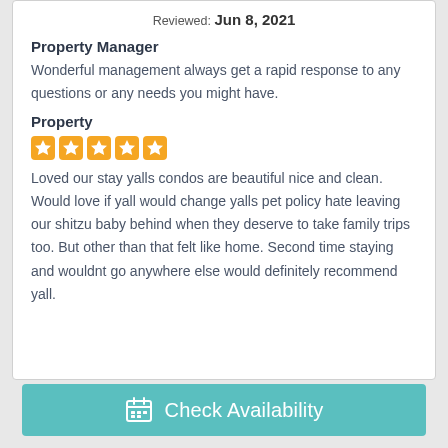Reviewed: Jun 8, 2021
Property Manager
Wonderful management always get a rapid response to any questions or any needs you might have.
Property
[Figure (other): 5 orange star rating icons]
Loved our stay yalls condos are beautiful nice and clean. Would love if yall would change yalls pet policy hate leaving our shitzu baby behind when they deserve to take family trips too. But other than that felt like home. Second time staying and wouldnt go anywhere else would definitely recommend yall.
Check Availability